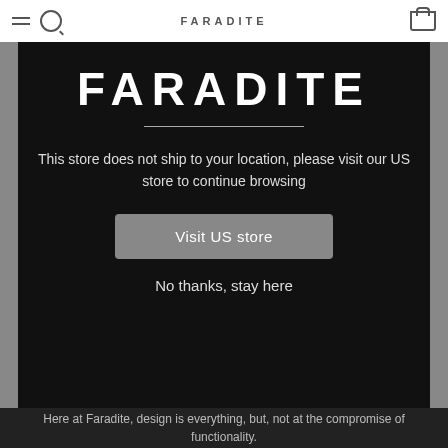FARADITE
[Figure (screenshot): Modal dialog on a dark background. Contains FARADITE logo, horizontal divider, a message about store shipping, a 'Visit US store' button, and a 'No thanks, stay here' link.]
FARADITE
This store does not ship to your location, please visit our US store to continue browsing
Visit US store
No thanks, stay here
Here at Faradite, design is everything, but, not at the compromise of functionality.